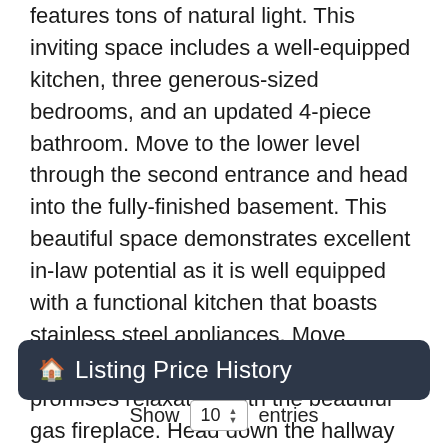features tons of natural light. This inviting space includes a well-equipped kitchen, three generous-sized bedrooms, and an updated 4-piece bathroom. Move to the lower level through the second entrance and head into the fully-finished basement. This beautiful space demonstrates excellent in-law potential as it is well equipped with a functional kitchen that boasts stainless steel appliances. Move seamlessly into the living room that promises relaxation with the beautiful gas fireplace. Head down the hallway into the three well-sized bedrooms, a primary sanctuary, and a four-piece bathroom with. Additionally, appreciate the convenience of an in-unit laundry room that completes the basement amenities. Visit our site for more info & a 3D tour! (64603236)
Listing Price History
Show 10 entries